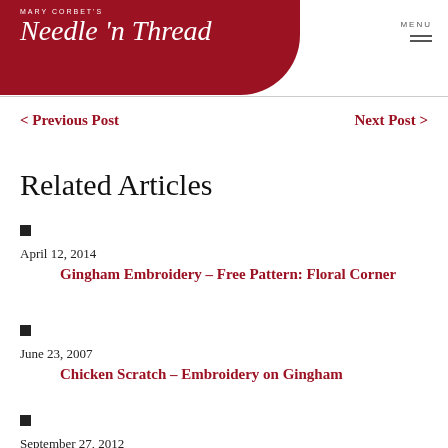Mary Corbet's Needle 'n Thread
< Previous Post
Next Post >
Related Articles
April 12, 2014 — Gingham Embroidery – Free Pattern: Floral Corner
June 23, 2007 — Chicken Scratch – Embroidery on Gingham
September 27, 2012